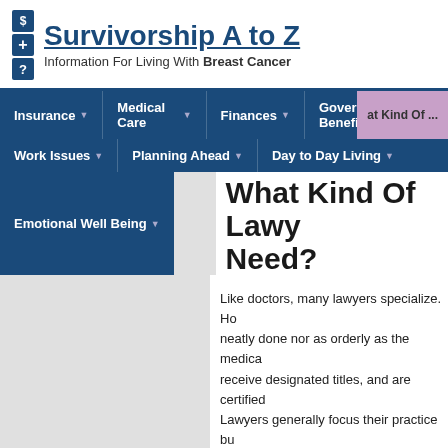Survivorship A to Z — Information For Living With Breast Cancer
Insurance | Medical Care | Finances | Government Benefits | Work Issues | Planning Ahead | Day to Day Living | Emotional Well Being
What Kind Of Lawyer Do I Need?
Like doctors, many lawyers specialize. However, the specialization is not as neatly done nor as orderly as the medical profession. Doctors who specialize receive designated titles, and are certified by specialty boards. Lawyers generally focus their practice but, unlike doctors, there is generally no national organization which sets standards and certifies specialists.
It's relatively easy to find attorneys who handle certain cases. Open the Yellow Pages, and you will see big ads for personal injury lawyers or workers' compensation. What you won't find are ads for specialists in Guardianships, Advance Directives or Social Security...